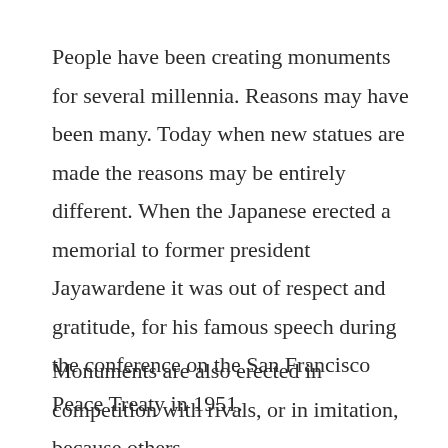People have been creating monuments for several millennia. Reasons may have been many. Today when new statues are made the reasons may be entirely different. When the Japanese erected a memorial to former president Jayawardene it was out of respect and gratitude, for his famous speech during the conference on the San Francisco Peace Treaty in 1951.
Monuments are also erected in competition with rivals, or in imitation, because others